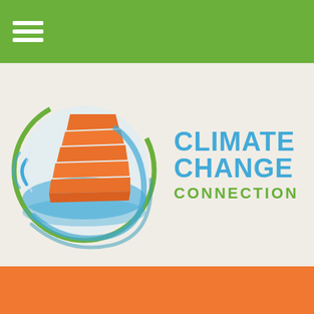[Figure (logo): Green navigation bar with white hamburger/menu icon at top left]
[Figure (logo): Climate Change Connection logo: circular emblem with orange stacked pages and blue/green swirl, next to bold text CLIMATE CHANGE in blue and CONNECTION in green, on light beige background]
[Figure (other): Solid orange/amber horizontal bar]